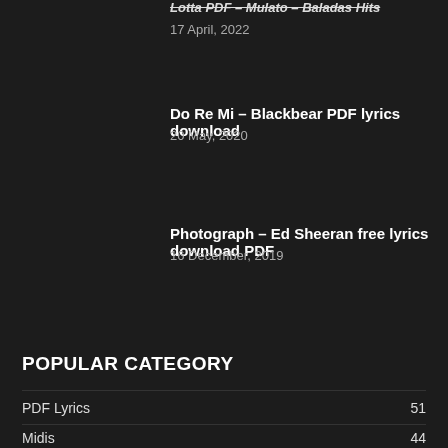Lotta PDF – Mulato – Baladas Hits
17 April, 2022
Do Re Mi – Blackbear PDF lyrics download
20 May, 2020
Photograph – Ed Sheeran free lyrics download PDF
16 December, 2019
POPULAR CATEGORY
PDF Lyrics 51
Midis 44